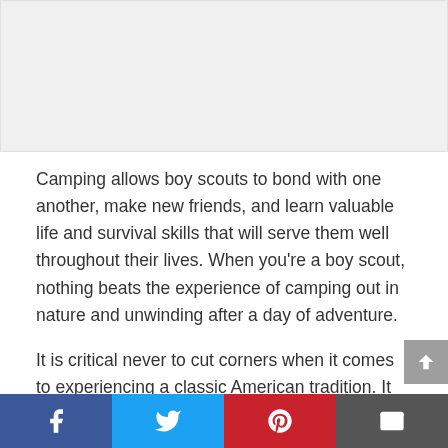[Figure (photo): Light gray placeholder rectangle representing a photo/image at the top of the page]
Camping allows boy scouts to bond with one another, make new friends, and learn valuable life and survival skills that will serve them well throughout their lives. When you’re a boy scout, nothing beats the experience of camping out in nature and unwinding after a day of adventure.
It is critical never to cut corners when it comes to experiencing a classic American tradition. It would be best to make every effort to use only the best equipment to provide a memorable, smooth, and
Facebook | Twitter | Pinterest | Email